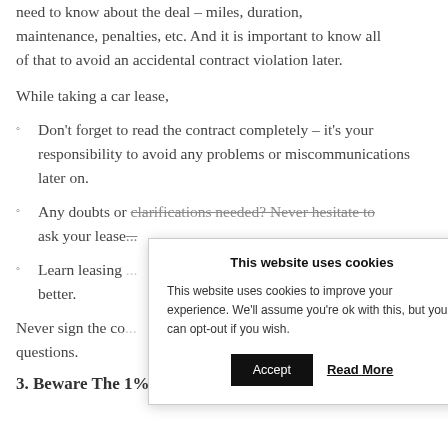need to know about the deal – miles, duration, maintenance, penalties, etc. And it is important to know all of that to avoid an accidental contract violation later.
While taking a car lease,
Don't forget to read the contract completely – it's your responsibility to avoid any problems or miscommunications later on.
Any doubts or clarifications needed? Never hesitate to ask your lease...
Learn leasing ... better.
Never sign the co... questions.
3. Beware The 1% Rule
[Figure (screenshot): Cookie consent popup overlay with title 'This website uses cookies', body text explaining cookie usage, Accept button, and Read More link.]